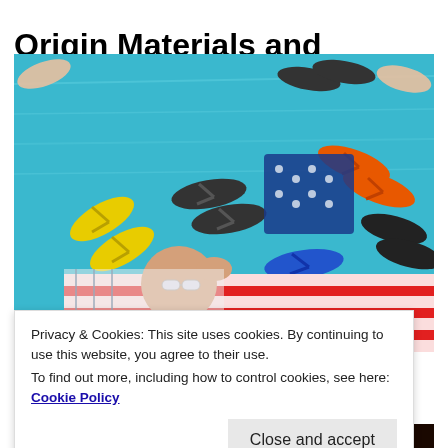Origin Materials and Packaging Matters Partn...
[Figure (photo): Photo of colorful flip flops (yellow, black, orange, blue) floating in a swimming pool, with a woman in a striped swimsuit and sunglasses lying by the pool edge.]
Privacy & Cookies: This site uses cookies. By continuing to use this website, you agree to their use.
To find out more, including how to control cookies, see here: Cookie Policy
CORONAVIRUS
[Figure (photo): Close-up photo of glowing orange and yellow coronavirus particles against a dark background.]